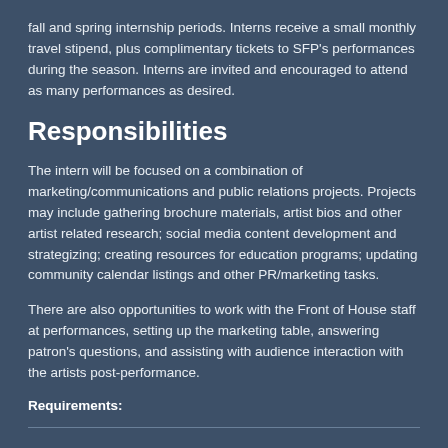fall and spring internship periods. Interns receive a small monthly travel stipend, plus complimentary tickets to SFP's performances during the season. Interns are invited and encouraged to attend as many performances as desired.
Responsibilities
The intern will be focused on a combination of marketing/communications and public relations projects. Projects may include gathering brochure materials, artist bios and other artist related research; social media content development and strategizing; creating resources for education programs; updating community calendar listings and other PR/marketing tasks.
There are also opportunities to work with the Front of House staff at performances, setting up the marketing table, answering patron's questions, and assisting with audience interaction with the artists post-performance.
Requirements: